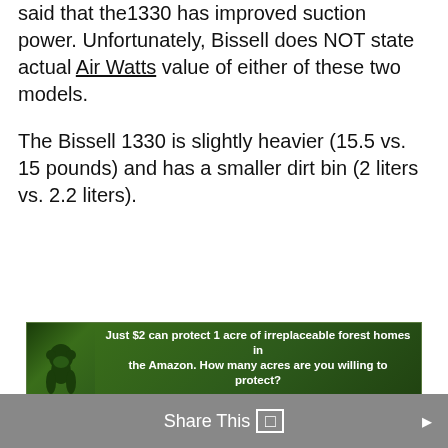said that the1330 has improved suction power. Unfortunately, Bissell does NOT state actual Air Watts value of either of these two models.
The Bissell 1330 is slightly heavier (15.5 vs. 15 pounds) and has a smaller dirt bin (2 liters vs. 2.2 liters).
[Figure (infographic): Advertisement banner: green forest background with monkey silhouette, text 'Just $2 can protect 1 acre of irreplaceable forest homes in the Amazon. How many acres are you willing to protect?' with green 'PROTECT FORESTS NOW' button]
Share This